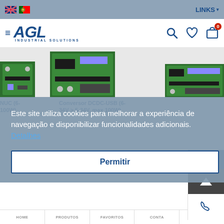LINKS
[Figure (logo): AGL Industrial Solutions logo with hamburger menu icon]
[Figure (photo): PCB circuit boards product images strip]
NUC (6-100W)
Conversor DCDC-USB (6-34V > 5-34V, max 100W)
Conversor DC160V 36V input 160 W
Este site utiliza cookies para melhorar a experiência de navegação e disponibilizar funcionalidades adicionais.  Detalhes
Permitir
HOME  PRODUTOS  FAVORITOS  CONTA  CONTACTOS